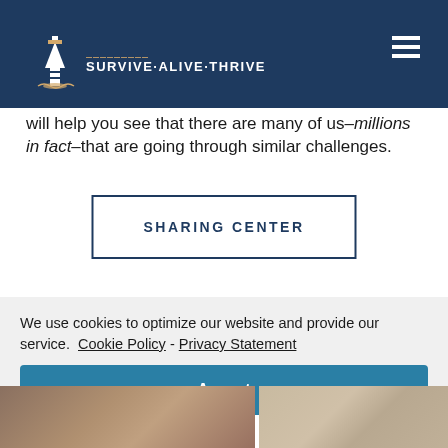SURVIVE-ALIVE-THRIVE
The most important thing that we can communicate is that how alone! We know from experience can sure feel that way, but Survive-Alive-Thrive will help you see that there are many of us—millions in fact–that are going through similar challenges.
SHARING CENTER
We use cookies to optimize our website and provide our service. Cookie Policy - Privacy Statement
Accept
[Figure (photo): Two partial photographs of people at the bottom of the page, partially cropped]